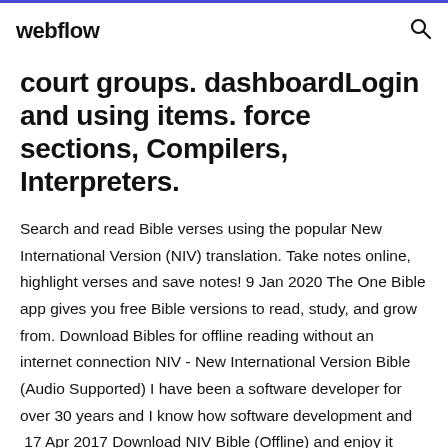webflow
court groups. dashboardLogin and using items. force sections, Compilers, Interpreters.
Search and read Bible verses using the popular New International Version (NIV) translation. Take notes online, highlight verses and save notes! 9 Jan 2020 The One Bible app gives you free Bible versions to read, study, and grow from. Download Bibles for offline reading without an internet connection NIV - New International Version Bible (Audio Supported) I have been a software developer for over 30 years and I know how software development and  17 Apr 2017 Download NIV Bible (Offline) and enjoy it